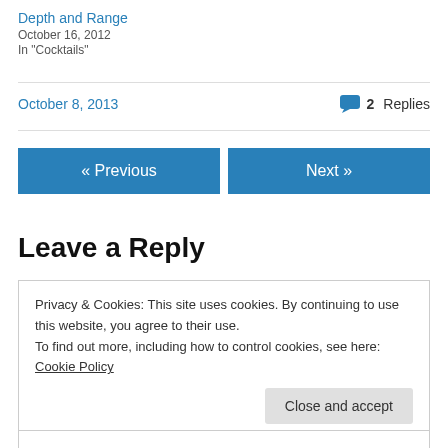Depth and Range
October 16, 2012
In "Cocktails"
October 8, 2013
2 Replies
« Previous
Next »
Leave a Reply
Privacy & Cookies: This site uses cookies. By continuing to use this website, you agree to their use.
To find out more, including how to control cookies, see here: Cookie Policy
Close and accept